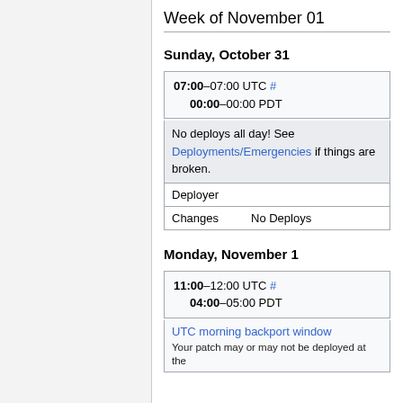Week of November 01
Sunday, October 31
07:00–07:00 UTC #
00:00–00:00 PDT
| No deploys all day! See Deployments/Emergencies if things are broken. |
| Deployer |  |
| Changes | No Deploys |
Monday, November 1
11:00–12:00 UTC #
04:00–05:00 PDT
| UTC morning backport window | Your patch may or may not be deployed at the |